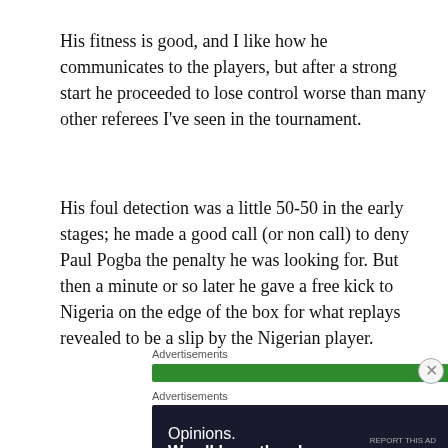His fitness is good, and I like how he communicates to the players, but after a strong start he proceeded to lose control worse than many other referees I've seen in the tournament.
His foul detection was a little 50-50 in the early stages; he made a good call (or non call) to deny Paul Pogba the penalty he was looking for. But then a minute or so later he gave a free kick to Nigeria on the edge of the box for what replays revealed to be a slip by the Nigerian player.
Advertisements
[Figure (other): Green advertisement banner bar]
Advertisements
[Figure (other): Dark navy advertisement box with text 'Opinions. We all have them!' and WordPress and Daily News logos]